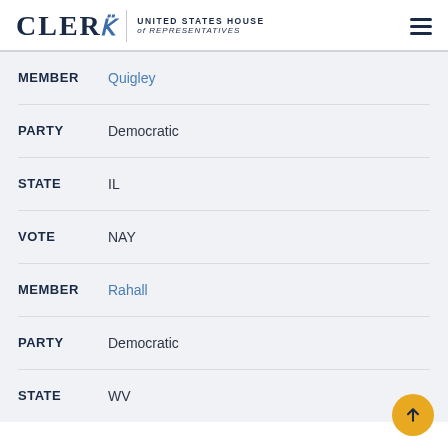CLERK United States House of Representatives
MEMBER Quigley
PARTY Democratic
STATE IL
VOTE NAY
MEMBER Rahall
PARTY Democratic
STATE WV